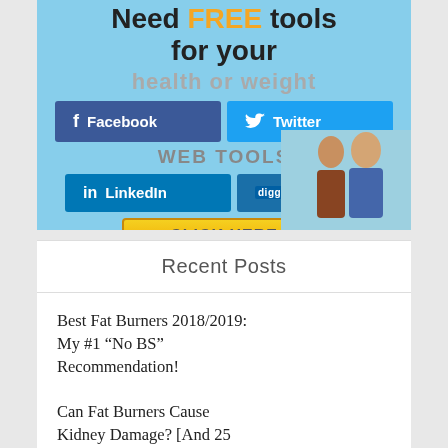[Figure (screenshot): Banner advertisement with text 'Need FREE tools for your health or weight...' with social share buttons for Facebook, Twitter, LinkedIn, Digg, and a yellow CLICK HERE button. Background is light blue with partial image of people on right side.]
Recent Posts
Best Fat Burners 2018/2019: My #1 “No BS” Recommendation!
Can Fat Burners Cause Kidney Damage? [And 25 Other Fat Burner Questions]